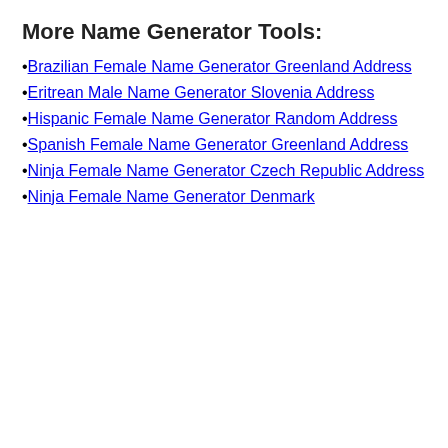More Name Generator Tools:
Brazilian Female Name Generator Greenland Address
Eritrean Male Name Generator Slovenia Address
Hispanic Female Name Generator Random Address
Spanish Female Name Generator Greenland Address
Ninja Female Name Generator Czech Republic Address
Ninja Female Name Generator Denmark